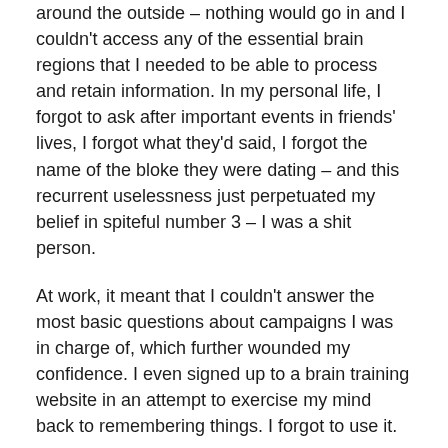around the outside – nothing would go in and I couldn't access any of the essential brain regions that I needed to be able to process and retain information. In my personal life, I forgot to ask after important events in friends' lives, I forgot what they'd said, I forgot the name of the bloke they were dating – and this recurrent uselessness just perpetuated my belief in spiteful number 3 – I was a shit person.
At work, it meant that I couldn't answer the most basic questions about campaigns I was in charge of, which further wounded my confidence. I even signed up to a brain training website in an attempt to exercise my mind back to remembering things. I forgot to use it.
5. Depression = An emotional black hole